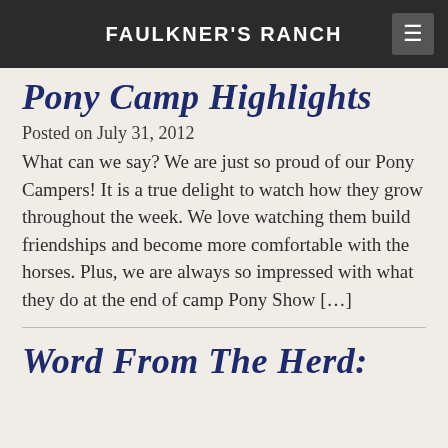FAULKNER'S RANCH
Pony Camp Highlights
Posted on July 31, 2012
What can we say? We are just so proud of our Pony Campers!  It is a true delight to watch how they grow throughout the week.  We love watching them build friendships and become more comfortable with the horses.  Plus, we are always so impressed with what they do at the end of camp Pony Show […]
Word From The Herd: